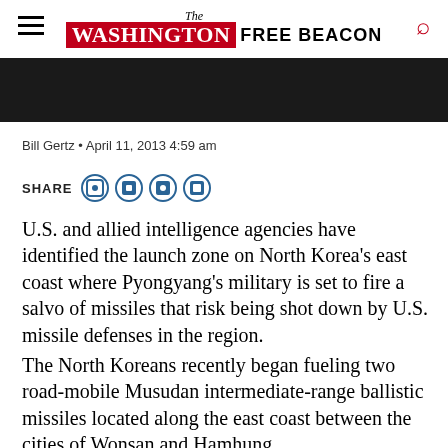The Washington Free Beacon
[Figure (photo): Dark banner image bar for the article (Musudan Missile photo, cropped)]
Musudan Missile / allthingsnuclear.org
Bill Gertz · April 11, 2013 4:59 am
SHARE
U.S. and allied intelligence agencies have identified the launch zone on North Korea's east coast where Pyongyang's military is set to fire a salvo of missiles that risk being shot down by U.S. missile defenses in the region.
The North Koreans recently began fueling two road-mobile Musudan intermediate-range ballistic missiles located along the east coast between the cities of Wonsan and Hamhung